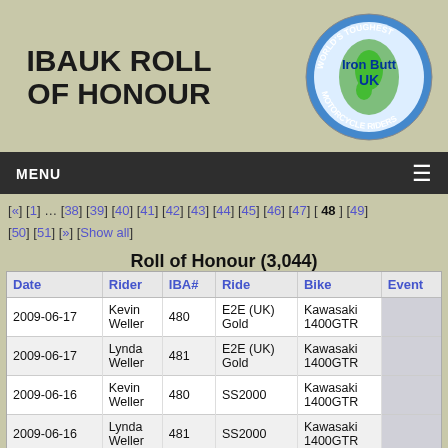IBAUK ROLL OF HONOUR
[Figure (logo): Iron Butt UK circular logo with text 'World's Toughest Motorcycle Riders' around a globe with UK map]
MENU
[«] [1] … [38] [39] [40] [41] [42] [43] [44] [45] [46] [47] [ 48 ] [49] [50] [51] [»] [Show all]
Roll of Honour (3,044)
| Date | Rider | IBA# | Ride | Bike | Event |
| --- | --- | --- | --- | --- | --- |
| 2009-06-17 | Kevin Weller | 480 | E2E (UK) Gold | Kawasaki 1400GTR |  |
| 2009-06-17 | Lynda Weller | 481 | E2E (UK) Gold | Kawasaki 1400GTR |  |
| 2009-06-16 | Kevin Weller | 480 | SS2000 | Kawasaki 1400GTR |  |
| 2009-06-16 | Lynda Weller | 481 | SS2000 | Kawasaki 1400GTR |  |